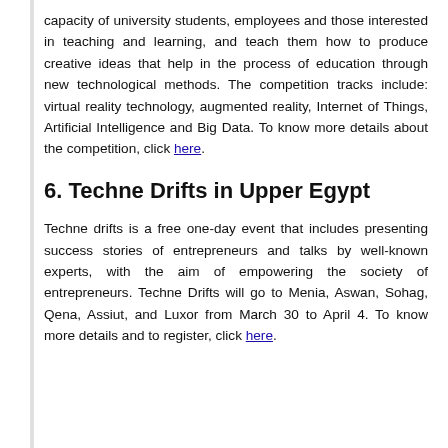capacity of university students, employees and those interested in teaching and learning, and teach them how to produce creative ideas that help in the process of education through new technological methods. The competition tracks include: virtual reality technology, augmented reality, Internet of Things, Artificial Intelligence and Big Data. To know more details about the competition, click here.
6. Techne Drifts in Upper Egypt
Techne drifts is a free one-day event that includes presenting success stories of entrepreneurs and talks by well-known experts, with the aim of empowering the society of entrepreneurs. Techne Drifts will go to Menia, Aswan, Sohag, Qena, Assiut, and Luxor from March 30 to April 4. To know more details and to register, click here.